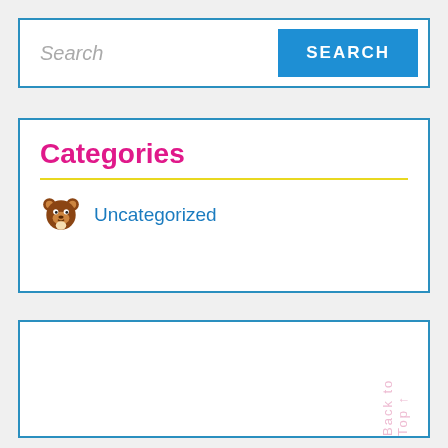Search
SEARCH
Categories
Uncategorized
Back to Top ↑